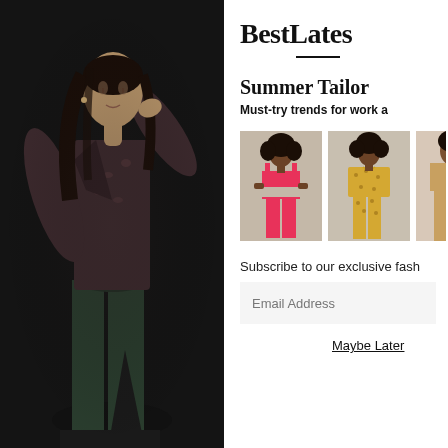[Figure (photo): Fashion model wearing a dark floral-print wrap top and dark green wide-leg trousers with a tie waist, photographed against a dark background]
BestLates
Summer Tailor
Must-try trends for work a
[Figure (photo): Thumbnail 1: Model in pink/red crop top and wide-leg trousers]
[Figure (photo): Thumbnail 2: Model in yellow patterned co-ord suit]
Subscribe to our exclusive fash
Email Address
Maybe Later